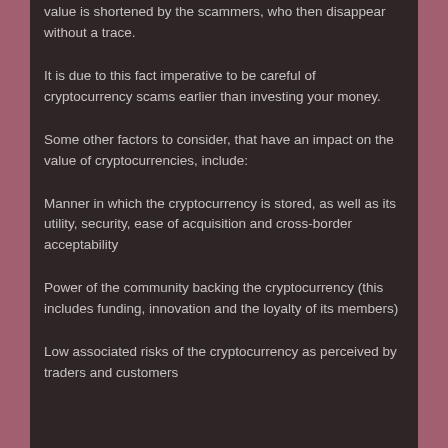value is shortened by the scammers, who then disappear without a trace.
It is due to this fact imperative to be careful of cryptocurrency scams earlier than investing your money.
Some other factors to consider, that have an impact on the value of cryptocurrencies, include:
Manner in which the cryptocurrency is stored, as well as its utility, security, ease of acquisition and cross-border acceptability
Power of the community backing the cryptocurrency (this includes funding, innovation and the loyalty of its members)
Low associated risks of the cryptocurrency as perceived by traders and customers